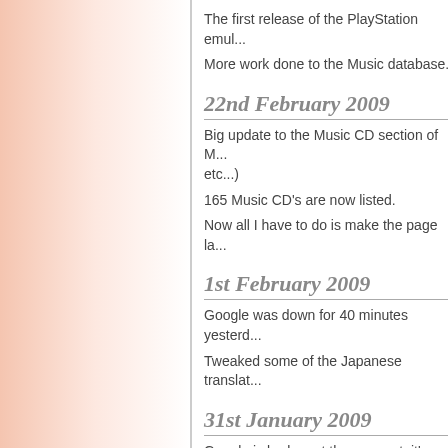The first release of the PlayStation emul...
More work done to the Music database.
22nd February 2009
Big update to the Music CD section of M... etc...)
165 Music CD's are now listed.
Now all I have to do is make the page la...
1st February 2009
Google was down for 40 minutes yesterd...
Tweaked some of the Japanese translat...
31st January 2009
Google is broken at the moment, it's disp...
So I guess you should use a different se...
24th January 2009
Konami yesterday released more downlo...